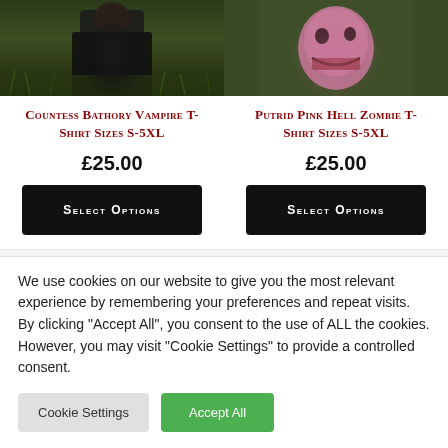[Figure (photo): Top portion of product photo showing person wearing a black t-shirt standing in a dark green field]
[Figure (photo): Top portion of product photo showing a dark olive green t-shirt with a pink/mauve zombie face graphic]
Countess Bathory Vampire T-Shirt Sizes S-5XL
Putrid Pink Hell Zombie T-Shirt Sizes S-5XL
£25.00
£25.00
Select Options
Select Options
We use cookies on our website to give you the most relevant experience by remembering your preferences and repeat visits. By clicking "Accept All", you consent to the use of ALL the cookies. However, you may visit "Cookie Settings" to provide a controlled consent.
Cookie Settings
Accept All